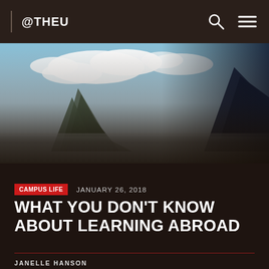@THEU
[Figure (photo): Landscape photo with mountains, sky, clouds and rocky terrain viewed from below, with a misty/foggy atmosphere fading to dark at the bottom]
CAMPUS LIFE   JANUARY 26, 2018
WHAT YOU DON'T KNOW ABOUT LEARNING ABROAD
JANELLE HANSON